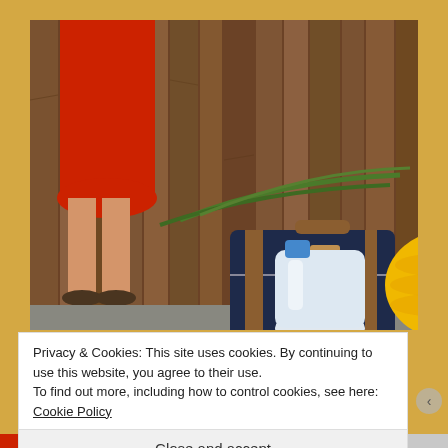[Figure (photo): A photograph showing a woman in a red dress standing near a wooden plank wall/door. On the ground are various bags and luggage: a navy blue hard-shell suitcase with brown leather straps, a yellow puffer/sleeping bag, a purple duffel bag with a logo, and a white plastic water jug. Long green plant fronds or stalks rest on top of the suitcase.]
Privacy & Cookies: This site uses cookies. By continuing to use this website, you agree to their use.
To find out more, including how to control cookies, see here: Cookie Policy
Close and accept